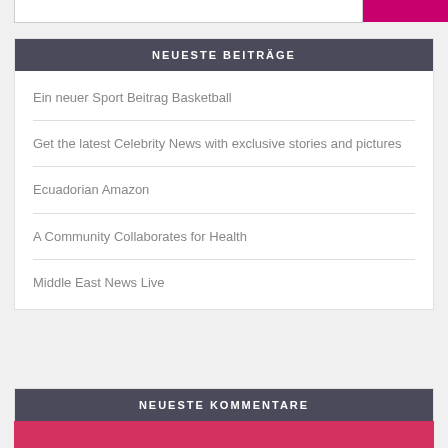NEUESTE BEITRÄGE
Ein neuer Sport Beitrag Basketball
Get the latest Celebrity News with exclusive stories and pictures
Ecuadorian Amazon
A Community Collaborates for Health
Middle East News Live
NEUESTE KOMMENTARE